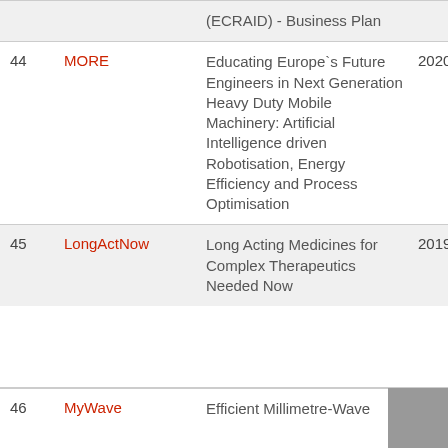| # | Name | Description | Year |
| --- | --- | --- | --- |
|  |  | (ECRAID) - Business Plan |  |
| 44 | MORE | Educating Europe`s Future Engineers in Next Generation Heavy Duty Mobile Machinery: Artificial Intelligence driven Robotisation, Energy Efficiency and Process Optimisation | 2020 |
| 45 | LongActNow | Long Acting Medicines for Complex Therapeutics Needed Now | 2019 |
| 46 | MyWave | Efficient Millimetre-Wave | 2019 |